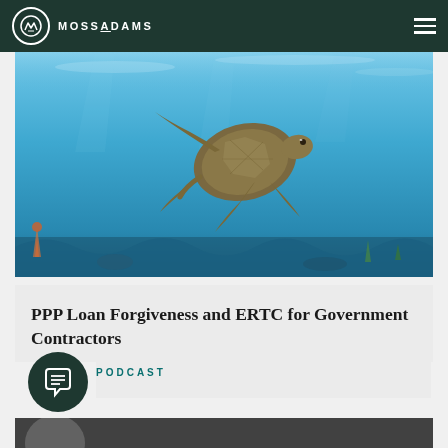MOSS ADAMS
[Figure (photo): Underwater photograph of a sea turtle swimming in clear blue ocean water with coral reef visible below]
PPP Loan Forgiveness and ERTC for Government Contractors
PODCAST
[Figure (photo): Partial bottom preview image showing a person's face]